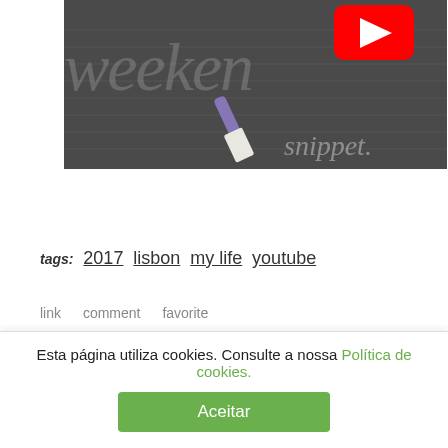[Figure (screenshot): YouTube video thumbnail showing a 'weekend snippet' video with notebook/paper background, red YouTube play button in the top right, and handwritten-style text reading 'weekend snippet']
tags: 2017 lisbon my life youtube
link   comment   favorite
[Figure (other): Twitter and Facebook social sharing icon buttons]
Esta página utiliza cookies. Consulte a nossa Política de cookies.
Aceitar